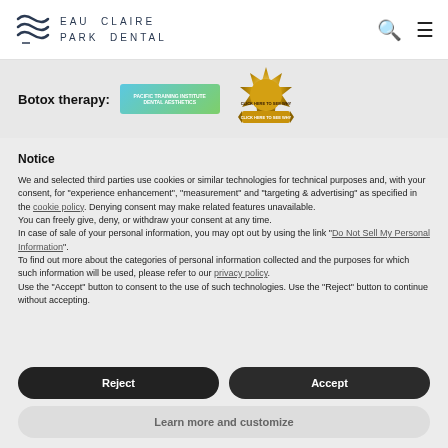EAU CLAIRE PARK DENTAL
[Figure (screenshot): Botox therapy banner with Pacific Training Institute badge and gold seal with text CLICK HERE TO SEE WHY]
Notice
We and selected third parties use cookies or similar technologies for technical purposes and, with your consent, for "experience enhancement", "measurement" and "targeting & advertising" as specified in the cookie policy. Denying consent may make related features unavailable.
You can freely give, deny, or withdraw your consent at any time.
In case of sale of your personal information, you may opt out by using the link "Do Not Sell My Personal Information".
To find out more about the categories of personal information collected and the purposes for which such information will be used, please refer to our privacy policy.
Use the "Accept" button to consent to the use of such technologies. Use the "Reject" button to continue without accepting.